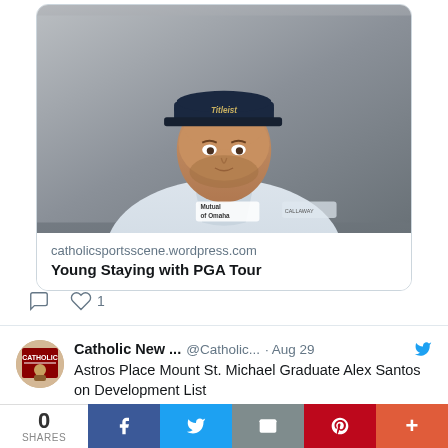[Figure (photo): Professional headshot of a male golfer wearing a Titleist cap and Mutual of Omaha polo shirt against a gray gradient background]
catholicsportsscene.wordpress.com
Young Staying with PGA Tour
0  ♡ 1
Catholic New ... @Catholic... · Aug 29
Astros Place Mount St. Michael Graduate Alex Santos on Development List
catholicsportsscene.wordpress.com/2022/08/29/ast... #archny #MountStMichael #MLB
0 SHARES